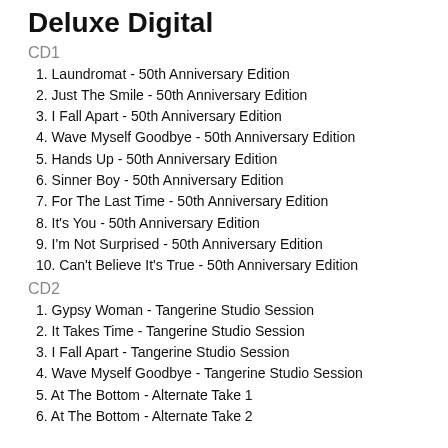Deluxe Digital
CD1
1. Laundromat - 50th Anniversary Edition
2. Just The Smile - 50th Anniversary Edition
3. I Fall Apart - 50th Anniversary Edition
4. Wave Myself Goodbye - 50th Anniversary Edition
5. Hands Up - 50th Anniversary Edition
6. Sinner Boy - 50th Anniversary Edition
7. For The Last Time - 50th Anniversary Edition
8. It's You - 50th Anniversary Edition
9. I'm Not Surprised - 50th Anniversary Edition
10. Can't Believe It's True - 50th Anniversary Edition
CD2
1. Gypsy Woman - Tangerine Studio Session
2. It Takes Time - Tangerine Studio Session
3. I Fall Apart - Tangerine Studio Session
4. Wave Myself Goodbye - Tangerine Studio Session
5. At The Bottom - Alternate Take 1
6. At The Bottom - Alternate Take 2